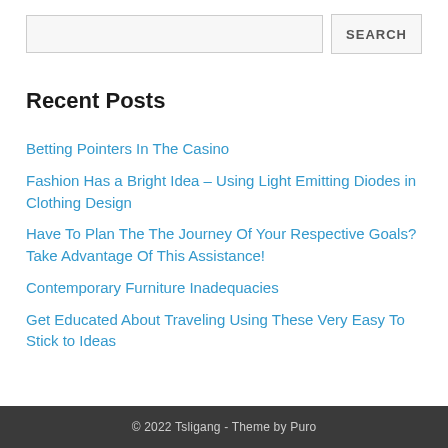[Figure (screenshot): Search bar with text input field and SEARCH button]
Recent Posts
Betting Pointers In The Casino
Fashion Has a Bright Idea – Using Light Emitting Diodes in Clothing Design
Have To Plan The The Journey Of Your Respective Goals? Take Advantage Of This Assistance!
Contemporary Furniture Inadequacies
Get Educated About Traveling Using These Very Easy To Stick to Ideas
© 2022 Tsligang  -  Theme by Puro